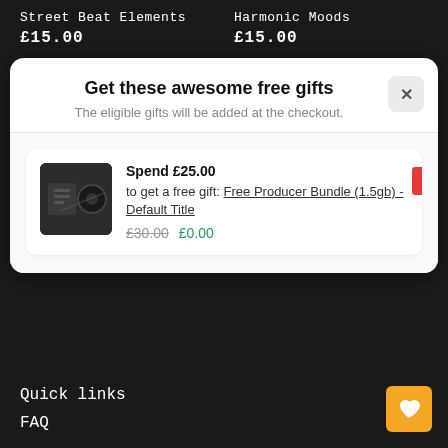Street Beat Elements
£15.00
Harmonic Moods
£15.00
Get these awesome free gifts
The eligible gifts will be added at the checkout.
Spend £25.00 to get a free gift: Free Producer Bundle (1.5gb) - Default Title £30.00 £0.00
Quick links
FAQ